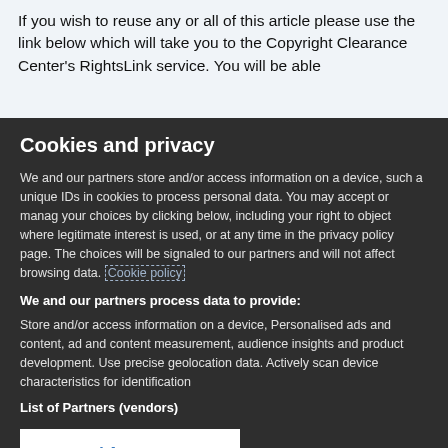If you wish to reuse any or all of this article please use the link below which will take you to the Copyright Clearance Center's RightsLink service. You will be able
Cookies and privacy
We and our partners store and/or access information on a device, such as unique IDs in cookies to process personal data. You may accept or manage your choices by clicking below, including your right to object where legitimate interest is used, or at any time in the privacy policy page. These choices will be signaled to our partners and will not affect browsing data. Cookie policy
We and our partners process data to provide:
Store and/or access information on a device, Personalised ads and content, ad and content measurement, audience insights and product development. Use precise geolocation data. Actively scan device characteristics for identification
List of Partners (vendors)
I Accept